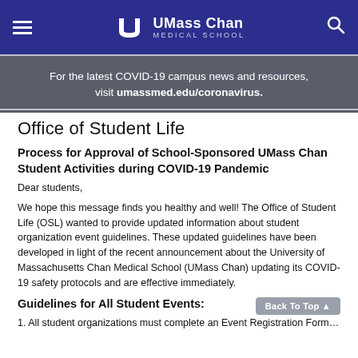UMass Chan Medical School navigation header with hamburger menu, logo, and search icon
For the latest COVID-19 campus news and resources, visit umassmed.edu/coronavirus.
Office of Student Life
Process for Approval of School-Sponsored UMass Chan Student Activities during COVID-19 Pandemic
Dear students,
We hope this message finds you healthy and well! The Office of Student Life (OSL) wanted to provide updated information about student organization event guidelines. These updated guidelines have been developed in light of the recent announcement about the University of Massachusetts Chan Medical School (UMass Chan) updating its COVID-19 safety protocols and are effective immediately.
Guidelines for All Student Events: